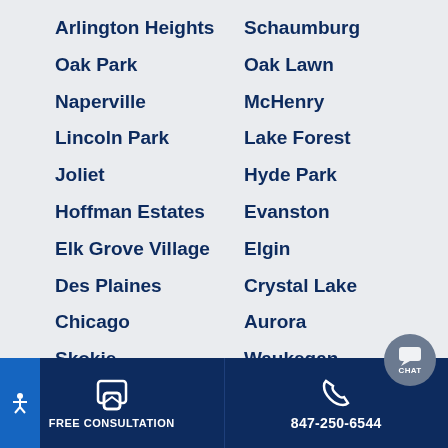Arlington Heights
Schaumburg
Oak Park
Oak Lawn
Naperville
McHenry
Lincoln Park
Lake Forest
Joliet
Hyde Park
Hoffman Estates
Evanston
Elk Grove Village
Elgin
Des Plaines
Crystal Lake
Chicago
Aurora
Skokie
Waukegan
FREE CONSULTATION   847-250-6544